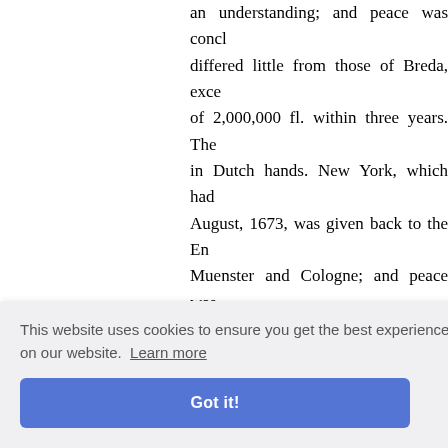an understanding; and peace was concl... differed little from those of Breda, exce... of 2,000,000 fl. within three years. The... in Dutch hands. New York, which had... August, 1673, was given back to the En... Muenster and Cologne; and peace was... (May 11) on the basis of the evacuatio... opposed now by a strong coalition, the... Brandenburg and Denmark. The cam... favouring circumstances, but nothing o... at the head of an allied force of some 7... The battle was fought out with great ob... French, however, though inferior in n... d William... s never a... opponent... circumstances... him, and,... soldiers... icht, in th...
This website uses cookies to ensure you get the best experience on our website. Learn more
Got it!